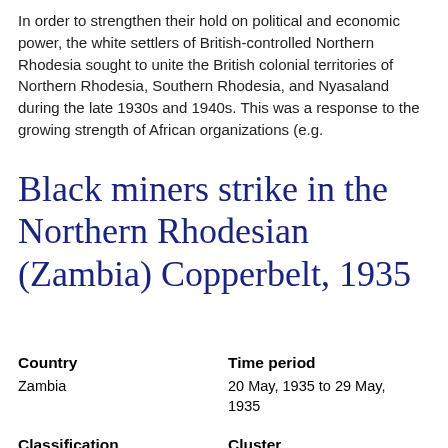In order to strengthen their hold on political and economic power, the white settlers of British-controlled Northern Rhodesia sought to unite the British colonial territories of Northern Rhodesia, Southern Rhodesia, and Nyasaland during the late 1930s and 1940s.  This was a response to the growing strength of African organizations (e.g.
Black miners strike in the Northern Rhodesian (Zambia) Copperbelt, 1935
| Country | Time period |
| --- | --- |
| Zambia | 20 May, 1935 to 29 May, 1935 |
|  |  |
| Classification | Cluster |
| Defense | Economic Justice
National/Ethnic Identity |
|  |  |
| Total points | Name of researcher, and |